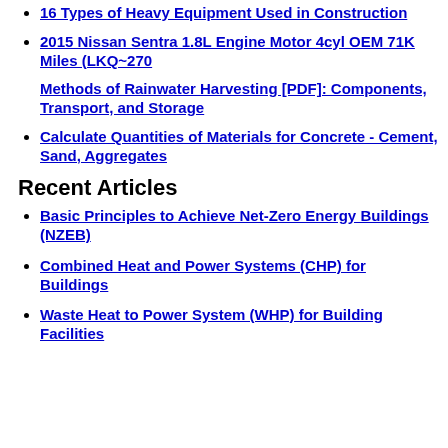16 Types of Heavy Equipment Used in Construction
2015 Nissan Sentra 1.8L Engine Motor 4cyl OEM 71K Miles (LKQ~270
Methods of Rainwater Harvesting [PDF]: Components, Transport, and Storage
Calculate Quantities of Materials for Concrete - Cement, Sand, Aggregates
Recent Articles
Basic Principles to Achieve Net-Zero Energy Buildings (NZEB)
Combined Heat and Power Systems (CHP) for Buildings
Waste Heat to Power System (WHP) for Building Facilities